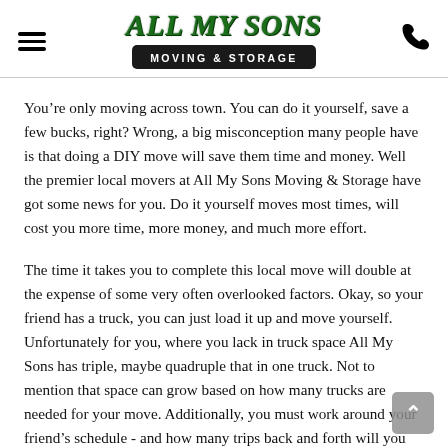[Figure (logo): All My Sons Moving & Storage logo with green stylized text and black banner]
You’re only moving across town. You can do it yourself, save a few bucks, right? Wrong, a big misconception many people have is that doing a DIY move will save them time and money. Well the premier local movers at All My Sons Moving & Storage have got some news for you. Do it yourself moves most times, will cost you more time, more money, and much more effort.
The time it takes you to complete this local move will double at the expense of some very often overlooked factors. Okay, so your friend has a truck, you can just load it up and move yourself. Unfortunately for you, where you lack in truck space All My Sons has triple, maybe quadruple that in one truck. Not to mention that space can grow based on how many trucks are needed for your move. Additionally, you must work around your friend’s schedule - and how many trips back and forth will you have